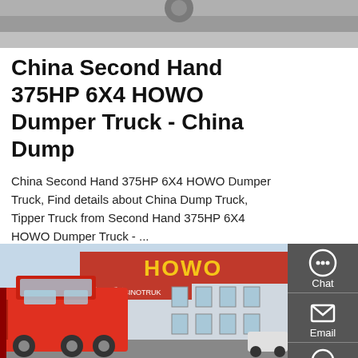[Figure (photo): Top partial image of a surface or road, gray/dark background, cropped at top of page]
China Second Hand 375HP 6X4 HOWO Dumper Truck - China Dump
China Second Hand 375HP 6X4 HOWO Dumper Truck, Find details about China Dump Truck, Tipper Truck from Second Hand 375HP 6X4 HOWO Dumper Truck - ...
[Figure (other): Red GET A QUOTE button]
[Figure (photo): Photo of a red HOWO Sinotruk truck parked in front of a HOWO dealership building with Chinese signage]